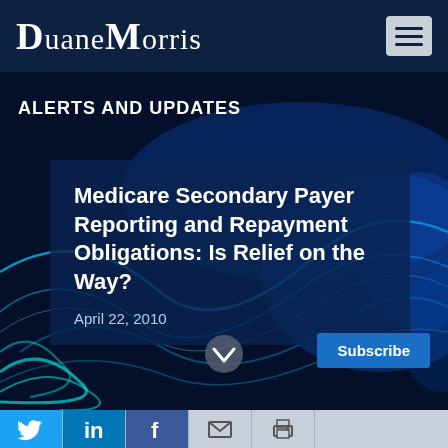Duane Morris
ALERTS AND UPDATES
Medicare Secondary Payer Reporting and Repayment Obligations: Is Relief on the Way?
April 22, 2010
Subscribe | Social icons: Twitter, LinkedIn, Facebook, Email, Print